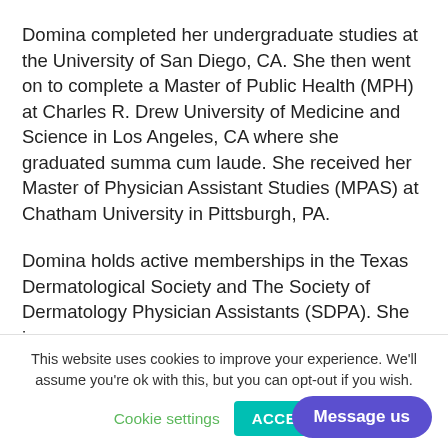Domina completed her undergraduate studies at the University of San Diego, CA. She then went on to complete a Master of Public Health (MPH) at Charles R. Drew University of Medicine and Science in Los Angeles, CA where she graduated summa cum laude. She received her Master of Physician Assistant Studies (MPAS) at Chatham University in Pittsburgh, PA.
Domina holds active memberships in the Texas Dermatological Society and The Society of Dermatology Physician Assistants (SDPA). She is
This website uses cookies to improve your experience. We'll assume you're ok with this, but you can opt-out if you wish.
Cookie settings | ACCEPT | Message us